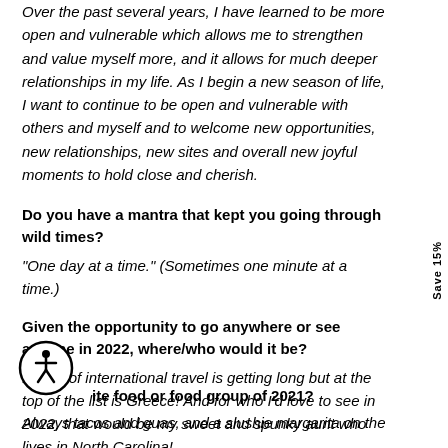Over the past several years, I have learned to be more open and vulnerable which allows me to strengthen and value myself more, and it allows for much deeper relationships in my life. As I begin a new season of life, I want to continue to be open and vulnerable with others and myself and to welcome new opportunities, new relationships, new sites and overall new joyful moments to hold close and cherish.
Do you have a mantra that kept you going through wild times?
"One day at a time." (Sometimes one minute at a time.)
Given the opportunity to go anywhere or see anyone in 2022, where/who would it be?
My list of international travel is getting long but at the top of the list is Greece! And for who I'd love to see in 2022, that would be my sweet and spunky aunt who lives in North Carolina!
[Figure (illustration): Accessibility icon — circular button with person/wheelchair accessibility symbol]
ite food or food group of 2021?
Always tacos and guas, and a slushie margarita on the